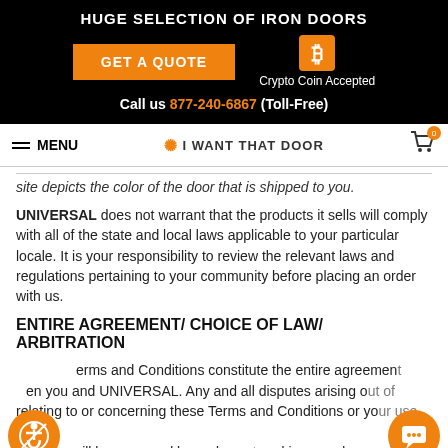HUGE SELECTION OF IRON DOORS
GET A QUOTE | Crypto Coin Accepted | Call us 877-240-6867 (Toll-Free)
MENU | I WANT THAT DOOR | Cart 0
site depicts the color of the door that is shipped to you.
UNIVERSAL does not warrant that the products it sells will comply with all of the state and local laws applicable to your particular locale. It is your responsibility to review the relevant laws and regulations pertaining to your community before placing an order with us.
ENTIRE AGREEMENT/ CHOICE OF LAW/ ARBITRATION
Terms and Conditions constitute the entire agreement between you and UNIVERSAL. Any and all disputes arising out of or relating to or concerning these Terms and Conditions or your use of our Site, will be governed by and construed in accordance with the